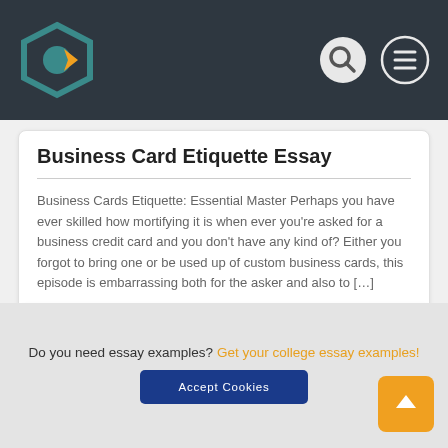[Figure (logo): Hexagonal logo with teal and yellow colors, navigation bar with search and menu icons]
Business Card Etiquette Essay
Business Cards Etiquette: Essential Master Perhaps you have ever skilled how mortifying it is when ever you're asked for a business credit card and you don’t have any kind of? Either you forgot to bring one or be used up of custom business cards, this episode is embarrassing both for the asker and also to […]
Do you need essay examples? Get your college essay examples!
Accept Cookies